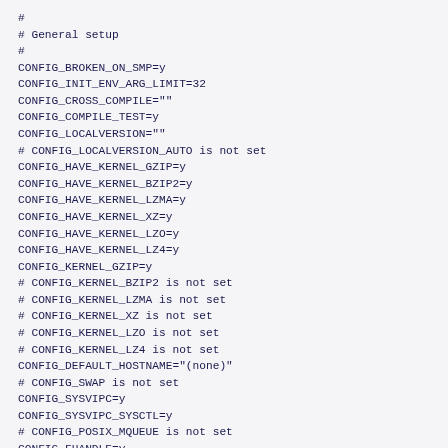#
# General setup
#
CONFIG_BROKEN_ON_SMP=y
CONFIG_INIT_ENV_ARG_LIMIT=32
CONFIG_CROSS_COMPILE=""
CONFIG_COMPILE_TEST=y
CONFIG_LOCALVERSION=""
# CONFIG_LOCALVERSION_AUTO is not set
CONFIG_HAVE_KERNEL_GZIP=y
CONFIG_HAVE_KERNEL_BZIP2=y
CONFIG_HAVE_KERNEL_LZMA=y
CONFIG_HAVE_KERNEL_XZ=y
CONFIG_HAVE_KERNEL_LZO=y
CONFIG_HAVE_KERNEL_LZ4=y
CONFIG_KERNEL_GZIP=y
# CONFIG_KERNEL_BZIP2 is not set
# CONFIG_KERNEL_LZMA is not set
# CONFIG_KERNEL_XZ is not set
# CONFIG_KERNEL_LZO is not set
# CONFIG_KERNEL_LZ4 is not set
CONFIG_DEFAULT_HOSTNAME="(none)"
# CONFIG_SWAP is not set
CONFIG_SYSVIPC=y
CONFIG_SYSVIPC_SYSCTL=y
# CONFIG_POSIX_MQUEUE is not set
CONFIG_FHANDLE=y
# CONFIG_AUDIT is not set

#